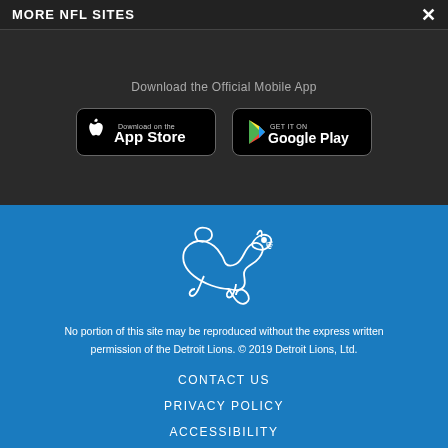MORE NFL SITES
Download the Official Mobile App
[Figure (logo): App Store download button for iOS]
[Figure (logo): Google Play download button for Android]
[Figure (logo): Detroit Lions lion head logo in white outline]
No portion of this site may be reproduced without the express written permission of the Detroit Lions.  © 2019 Detroit Lions, Ltd.
CONTACT US
PRIVACY POLICY
ACCESSIBILITY
TERMS & CONDITIONS
[Figure (other): Social media icons: Facebook, Twitter, Email, Link/chain]